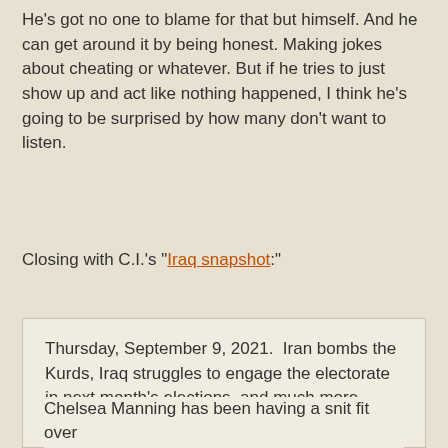He's got no one to blame for that but himself. And he can get around it by being honest. Making jokes about cheating or whatever. But if he tries to just show up and act like nothing happened, I think he's going to be surprised by how many don't want to listen.
Closing with C.I.'s "Iraq snapshot:"
Thursday, September 9, 2021.  Iran bombs the Kurds, Iraq struggles to engage the electorate in next month's elections, and much more.
Chelsea Manning has been having a snit fit over